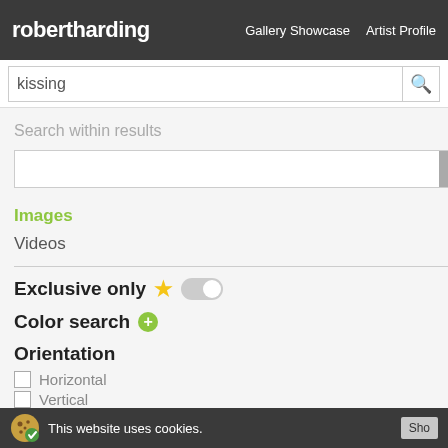robertharding  Gallery Showcase  Artist Profile
kissing
Search within results
Images  537
Videos  36
Exclusive only
Color search
Orientation
Horizontal
Vertical
Panoramic
[Figure (photo): Person kissing a newborn baby on the forehead]
[Figure (photo): Couple about to kiss, bride and groom with warm backlight]
This website uses cookies.  Sho